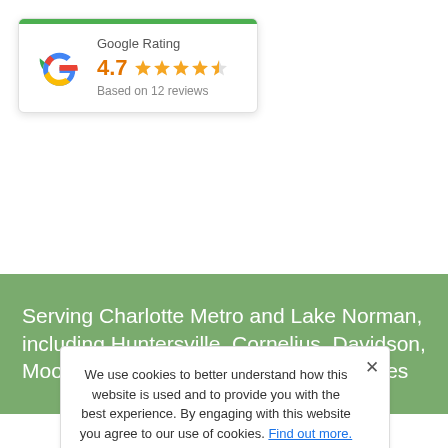[Figure (other): Google Rating card with Google 'G' logo, showing 4.7 rating with 4.5 stars, based on 12 reviews, with green top bar]
Serving Charlotte Metro and Lake Norman, including Huntersville, Cornelius, Davidson, Mooresville and neighboring communities
We use cookies to better understand how this website is used and to provide you with the best experience. By engaging with this website you agree to our use of cookies. Find out more.